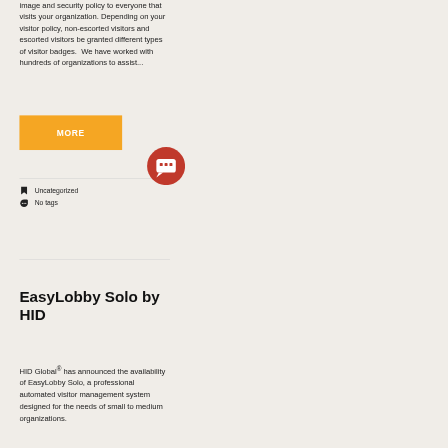image and security policy to everyone that visits your organization. Depending on your visitor policy, non-escorted visitors and escorted visitors be granted different types of visitor badges.  We have worked with hundreds of organizations to assist...
MORE
Uncategorized
No tags
EasyLobby Solo by HID
HID Global® has announced the availability of EasyLobby Solo, a professional automated visitor management system designed for the needs of small to medium organizations.